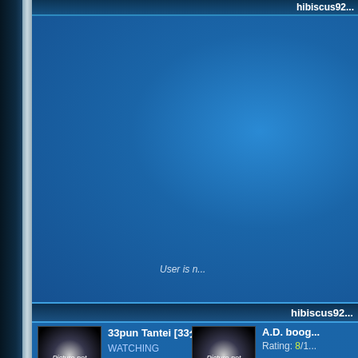hibiscus92...
User is n...
hibiscus92...
33pun Tantei [33分探偵]
WATCHING
A.D. boog...
Rating: 8/1...
Africa no yoru [アフリカの夜]
Rating: 4/10 (Watched)
Terrible ending.
Aishiteiru...
Rating: 6/1...
Akujo [悪女]
Rating: 6/10 (Watched)
Antique [ア...]
Rating: 6/1...